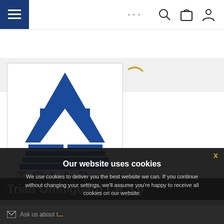[Figure (screenshot): Navigation bar with hamburger menu button (dark blue), ellipsis dots, search icon, shopping bag icon, and user/profile icon]
[Figure (logo): Martins company logo with text 'martins' and a golden arc/swoosh above it]
[Figure (logo): Triad company logo - blue triangular pyramid shapes stacked with letters T R I A D below]
Triad Omniguard CR 3.0
Our website uses cookies
We use cookies to deliver you the best website we can. If you continue without changing your settings, we'll assume you're happy to receive all cookies on our website.
Continue
More Detail
Ask us about t...